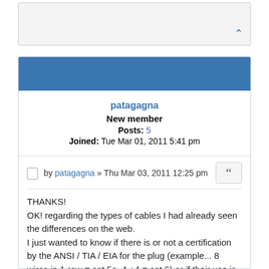[Figure (screenshot): Collapsed forum post with a light gray background and an up-arrow chevron button at the bottom right.]
patagagna
New member
Posts: 5
Joined: Tue Mar 01, 2011 5:41 pm
by patagagna » Thu Mar 03, 2011 12:25 pm
THANKS!
OK! regarding the types of cables I had already seen the differences on the web.
I just wanted to know if there is or not a certification by the ANSI / TIA / EIA for the plug (example... 8 wires in 1 row = cat 5e, 4 +4 = cat 6) or if their use is made according to the thickness of the copper wires of the cable ..
I ask these questions because I bought the plug shielded cat